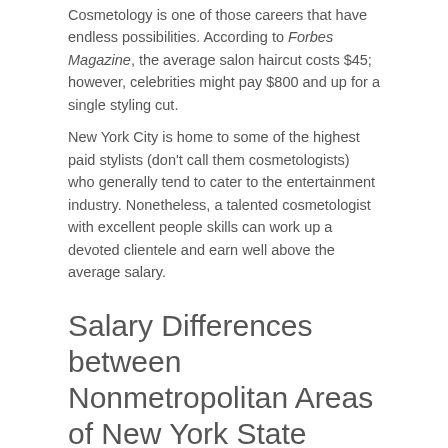Cosmetology is one of those careers that have endless possibilities. According to Forbes Magazine, the average salon haircut costs $45; however, celebrities might pay $800 and up for a single styling cut.
New York City is home to some of the highest paid stylists (don't call them cosmetologists) who generally tend to cater to the entertainment industry. Nonetheless, a talented cosmetologist with excellent people skills can work up a devoted clientele and earn well above the average salary.
Salary Differences between Nonmetropolitan Areas of New York State
|  | Northern | Central |
| --- | --- | --- |
| Mean Annual Salary | $19510 | $26020 |